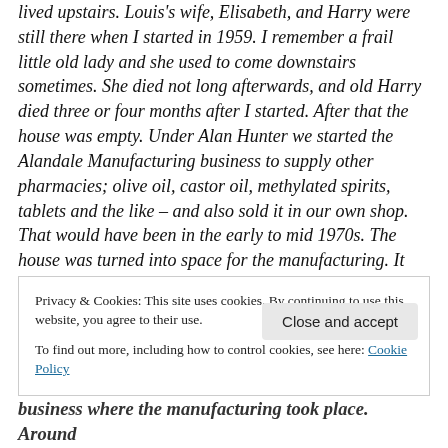lived upstairs. Louis's wife, Elisabeth, and Harry were still there when I started in 1959. I remember a frail little old lady and she used to come downstairs sometimes. She died not long afterwards, and old Harry died three or four months after I started. After that the house was empty. Under Alan Hunter we started the Alandale Manufacturing business to supply other pharmacies; olive oil, castor oil, methylated spirits, tablets and the like – and also sold it in our own shop. That would have been in the early to mid 1970s. The house was turned into space for the manufacturing. It was like a separate business, the
Privacy & Cookies: This site uses cookies. By continuing to use this website, you agree to their use.
To find out more, including how to control cookies, see here: Cookie Policy
Close and accept
business where the manufacturing took place. Around